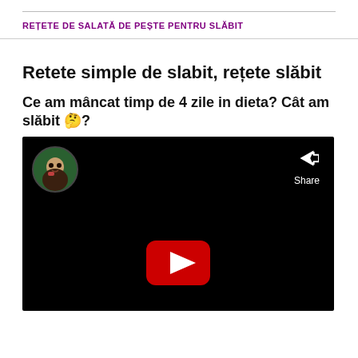REȚETE DE SALATĂ DE PEȘTE PENTRU SLĂBIT
Retete simple de slabit, rețete slăbit
Ce am mâncat timp de 4 zile in dieta? Cât am slăbit 🤔?
[Figure (screenshot): YouTube video thumbnail with black background, circular avatar of a child in top-left, Share button with arrow icon in top-right, and YouTube play button in the center-bottom area.]